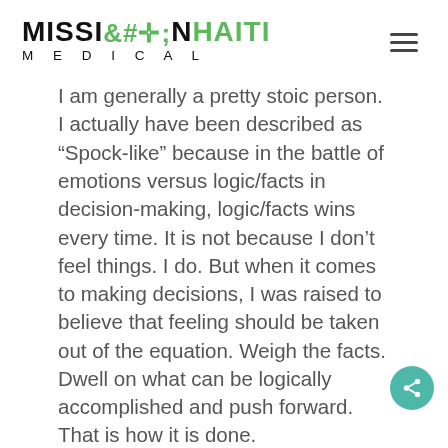MISSION HAITI MEDICAL
I am generally a pretty stoic person. I actually have been described as “Spock-like” because in the battle of emotions versus logic/facts in decision-making, logic/facts wins every time. It is not because I don’t feel things. I do. But when it comes to making decisions, I was raised to believe that feeling should be taken out of the equation. Weigh the facts. Dwell on what can be logically accomplished and push forward. That is how it is done.